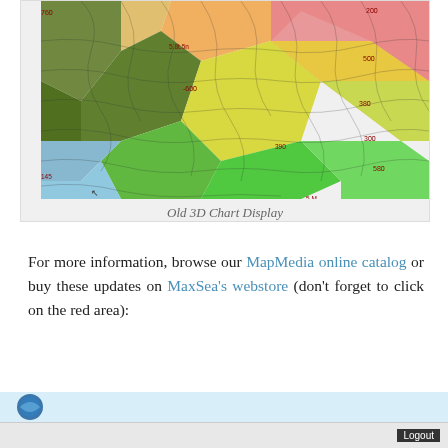[Figure (illustration): 3D chart display showing a terrain/bathymetric map rendered as a 3D surface with colorful elevation bands ranging from red/pink (high) through orange, yellow, green to blue/cyan (low), with contour lines and elevation labels such as 760, 600, 580, 380, 300, 390, 5.M, 200, 145, 1640, 1680, 700 visible on the surface.]
Old 3D Chart Display
For more information, browse our MapMedia online catalog or buy these updates on MaxSea's webstore (don't forget to click on the red area):
[Figure (screenshot): Bottom strip showing a partial screenshot of a webpage with a blue circular logo/map image on the left and a Logout button on the right.]